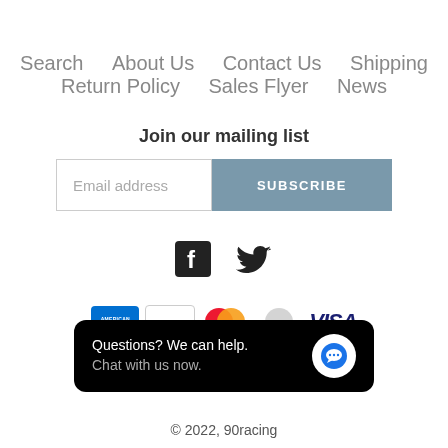Search   About Us   Contact Us   Shipping   Return Policy   Sales Flyer   News
Join our mailing list
Email address  SUBSCRIBE
[Figure (logo): Facebook and Twitter social icons]
[Figure (logo): Payment icons: American Express, Apple Pay, Mastercard (partial), and Visa]
[Figure (screenshot): Chat popup: 'Questions? We can help. Chat with us now.' with a message bubble icon]
© 2022, 90racing